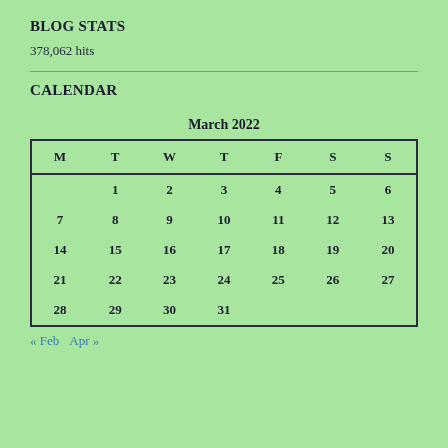BLOG STATS
378,062 hits
CALENDAR
| M | T | W | T | F | S | S |
| --- | --- | --- | --- | --- | --- | --- |
|  | 1 | 2 | 3 | 4 | 5 | 6 |
| 7 | 8 | 9 | 10 | 11 | 12 | 13 |
| 14 | 15 | 16 | 17 | 18 | 19 | 20 |
| 21 | 22 | 23 | 24 | 25 | 26 | 27 |
| 28 | 29 | 30 | 31 |  |  |  |
« Feb   Apr »